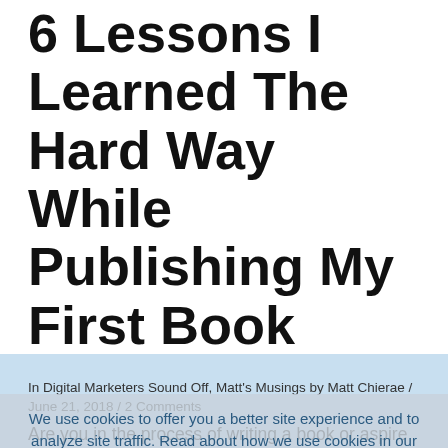6 Lessons I Learned The Hard Way While Publishing My First Book
In Digital Marketers Sound Off, Matt's Musings by Matt Chierae / June 21, 2018 / 2 Comments
We use cookies to offer you a better site experience and to analyze site traffic. Read about how we use cookies in our Privacy Policy. If you continue to use
Are you in the process of writing a book or aspire to be a self-published author? This post will help you to avoid some of the mistakes I made and replicate the successes.
Got it
1. Amazon will disappoint you. Be ready for it.